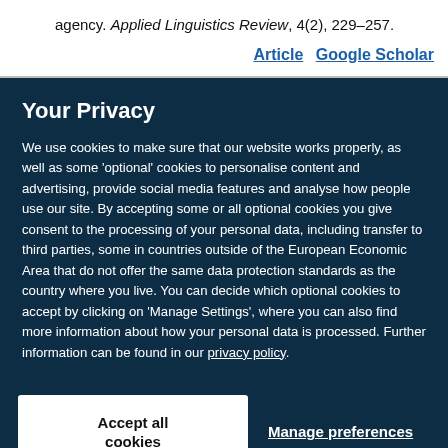agency. Applied Linguistics Review, 4(2), 229–257.
Article   Google Scholar
Your Privacy
We use cookies to make sure that our website works properly, as well as some 'optional' cookies to personalise content and advertising, provide social media features and analyse how people use our site. By accepting some or all optional cookies you give consent to the processing of your personal data, including transfer to third parties, some in countries outside of the European Economic Area that do not offer the same data protection standards as the country where you live. You can decide which optional cookies to accept by clicking on 'Manage Settings', where you can also find more information about how your personal data is processed. Further information can be found in our privacy policy.
Accept all cookies
Manage preferences